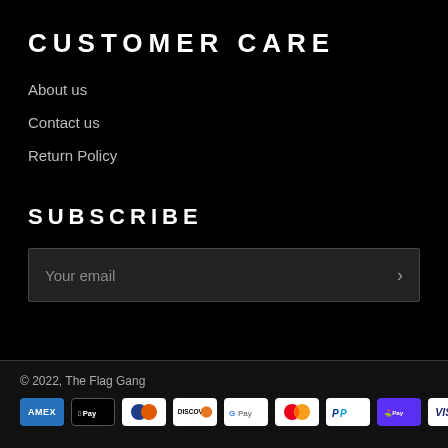CUSTOMER CARE
About us
Contact us
Return Policy
SUBSCRIBE
Your email
© 2022, The Flag Gang
[Figure (other): Payment method icons: AMEX, Apple Pay, Diners Club, Discover, Google Pay, Mastercard, PayPal, Shop Pay, Visa]